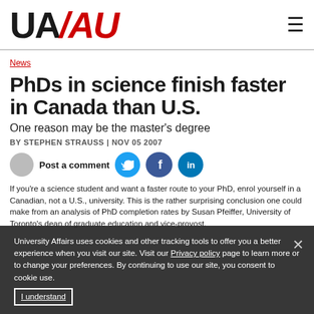[Figure (logo): UA/AU University Affairs logo with UA in black and AU in red italic]
News
PhDs in science finish faster in Canada than U.S.
One reason may be the master's degree
BY STEPHEN STRAUSS | NOV 05 2007
[Figure (illustration): Social sharing row with avatar, Post a comment text, Twitter, Facebook, LinkedIn icon buttons]
If you're a science student and want a faster route to your PhD, enrol yourself in a Canadian, not a U.S., university. This is the rather surprising conclusion one could make from an analysis of PhD completion rates by Susan Pfeiffer, University of Toronto's dean of graduate education and vice-provost.
University Affairs uses cookies and other tracking tools to offer you a better experience when you visit our site. Visit our Privacy policy page to learn more or to change your preferences. By continuing to use our site, you consent to cookie use.